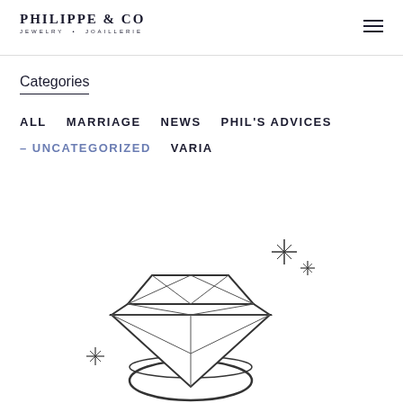PHILIPPE & CO JEWELRY • JOAILLERIE
Categories
ALL  MARRIAGE  NEWS  PHIL'S ADVICES  – UNCATEGORIZED  VARIA
[Figure (illustration): Hand-drawn sketch illustration of a diamond ring with sparkle stars around it, pencil/ink style]